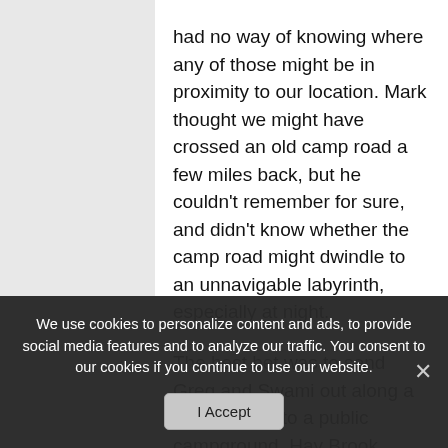had no way of knowing where any of those might be in proximity to our location. Mark thought we might have crossed an old camp road a few miles back, but he couldn't remember for sure, and didn't know whether the camp road might dwindle to an unnavigable labyrinth, especially at night.
The best bet was to send Greg and Swami out along a known route to a public campground. Hay Brook Campground was in the wilderness, but it was accessible by car. The young men hoped to find a camper there.
Get Out Of The Rat-Race And Make
We use cookies to personalize content and ads, to provide social media features and to analyze our traffic. You consent to our cookies if you continue to use our website.